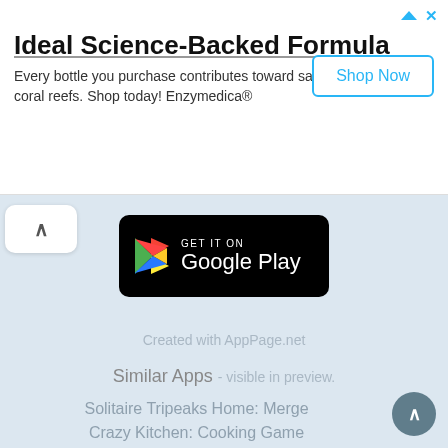[Figure (infographic): Advertisement banner with title 'Ideal Science-Backed Formula', body text 'Every bottle you purchase contributes toward saving our ocean's coral reefs. Shop today! Enzymedica®', and a 'Shop Now' button on the right.]
[Figure (logo): Google Play store badge with Google Play triangle logo and text 'GET IT ON Google Play' on a black rounded rectangle background.]
Created with AppPage.net
Similar Apps - visible in preview.
Solitaire Tripeaks Home: Merge
Crazy Kitchen: Cooking Game